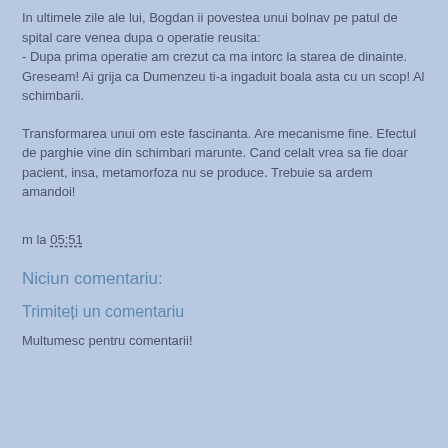In ultimele zile ale lui, Bogdan ii povestea unui bolnav pe patul de spital care venea dupa o operatie reusita:
- Dupa prima operatie am crezut ca ma intorc la starea de dinainte. Greseam! Ai grija ca Dumenzeu ti-a ingaduit boala asta cu un scop! Al schimbarii.
Transformarea unui om este fascinanta. Are mecanisme fine. Efectul de parghie vine din schimbari marunte. Cand celalt vrea sa fie doar pacient, insa, metamorfoza nu se produce. Trebuie sa ardem amandoi!
m la 05:51
Niciun comentariu:
Trimiteți un comentariu
Multumesc pentru comentarii!